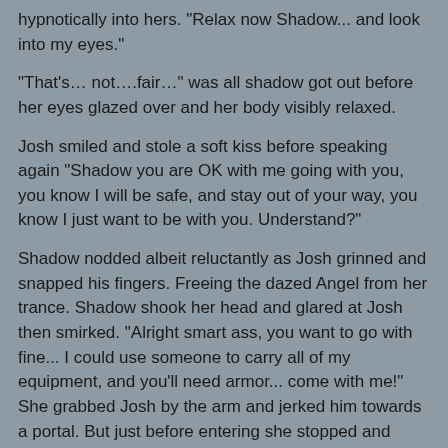hypnotically into hers. "Relax now Shadow... and look into my eyes."
“That’s… not….fair…” was all shadow got out before her eyes glazed over and her body visibly relaxed.
Josh smiled and stole a soft kiss before speaking again “Shadow you are OK with me going with you, you know I will be safe, and stay out of your way, you know I just want to be with you. Understand?”
Shadow nodded albeit reluctantly as Josh grinned and snapped his fingers. Freeing the dazed Angel from her trance. Shadow shook her head and glared at Josh then smirked. “Alright smart ass, you want to go with fine... I could use someone to carry all of my equipment, and you’ll need armor... come with me!” She grabbed Josh by the arm and jerked him towards a portal. But just before entering she stopped and pulled him close. She kissed him softly. Then pulled them both through the portal.
The last words that could be heard as they vanished